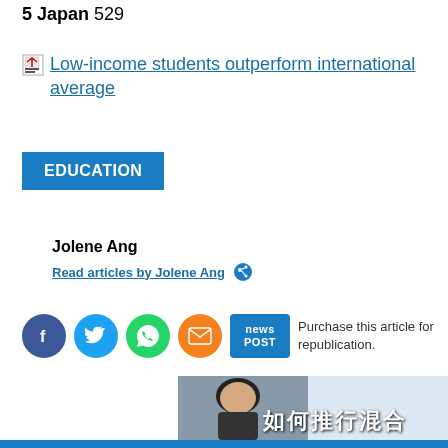5 Japan 529
Low-income students outperform international average
EDUCATION
Jolene Ang
Read articles by Jolene Ang
Purchase this article for republication.
[Figure (photo): Photo of a woman with Chinese overlay text reading 如何推行混合]